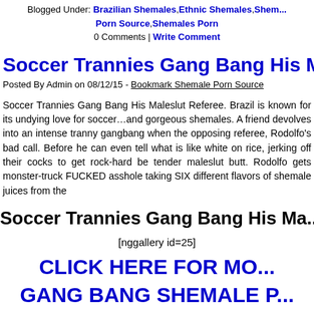Blogged Under: Brazilian Shemales, Ethnic Shemales, Shemale Porn Source, Shemales Porn
0 Comments | Write Comment
Soccer Trannies Gang Bang His Males...
Posted By Admin on 08/12/15 - Bookmark Shemale Porn Source
Soccer Trannies Gang Bang His Maleslut Referee. Brazil is known for its undying love for soccer...and gorgeous shemales. A friend devolves into an intense tranny gangbang when the opposing referee, Rodolfo's bad call. Before he can even tell what is like white on rice, jerking off their cocks to get rock-hard be tender maleslut butt. Rodolfo gets monster-truck FUCKED asshole taking SIX different flavors of shemale juices from the
Soccer Trannies Gang Bang His Ma...
[nggallery id=25]
CLICK HERE FOR MO...
GANG BANG SHEMALE P...